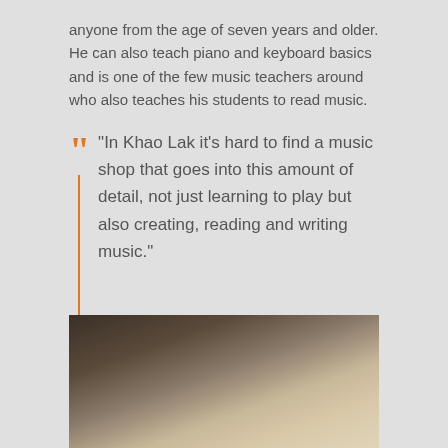anyone from the age of seven years and older. He can also teach piano and keyboard basics and is one of the few music teachers around who also teaches his students to read music.
“In Khao Lak it’s hard to find a music shop that goes into this amount of detail, not just learning to play but also creating, reading and writing music.”
However, there’s more to GBS Music Shop than just guitar lessons.
[Figure (photo): Close-up blurred photograph of what appears to be a guitar body or string instrument surface, with warm brown and beige tones.]